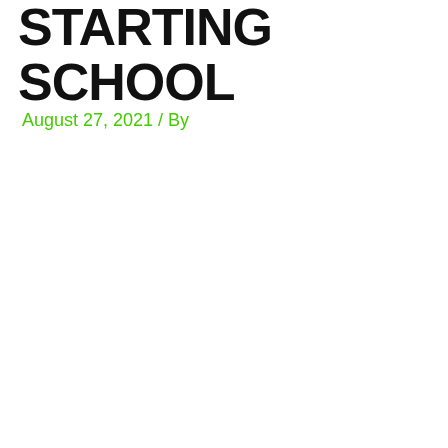STARTING SCHOOL
August 27, 2021 / By